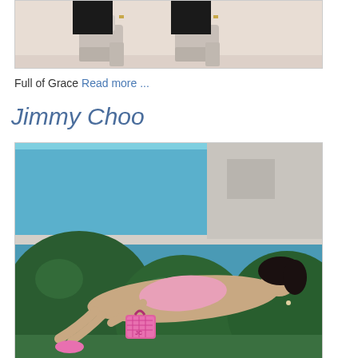[Figure (photo): Fashion photo showing platform heels/shoes against a light beige background, legs visible from knees down wearing black trousers]
Full of Grace Read more ...
Jimmy Choo
[Figure (photo): Fashion campaign photo showing a woman in a pink swimsuit lying on rounded green topiary bushes next to a pool, holding a pink quilted handbag. Jimmy Choo advertisement.]